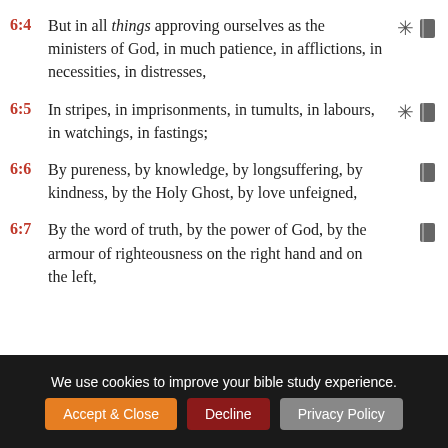6:4 But in all things approving ourselves as the ministers of God, in much patience, in afflictions, in necessities, in distresses,
6:5 In stripes, in imprisonments, in tumults, in labours, in watchings, in fastings;
6:6 By pureness, by knowledge, by longsuffering, by kindness, by the Holy Ghost, by love unfeigned,
6:7 By the word of truth, by the power of God, by the armour of righteousness on the right hand and on the left,
We use cookies to improve your bible study experience.